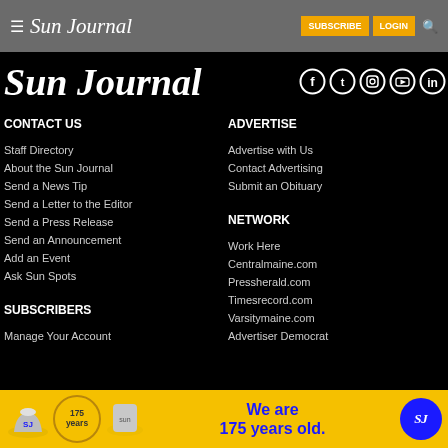≡ Sun Journal  SUBSCRIBE  LOGIN  🔍
Sun Journal
[Figure (logo): Social media icons: Facebook, Twitter, Instagram, YouTube, LinkedIn — white circles on black background]
CONTACT US
Staff Directory
About the Sun Journal
Send a News Tip
Send a Letter to the Editor
Send a Press Release
Send an Announcement
Add an Event
Ask Sun Spots
SUBSCRIBERS
Manage Your Account
ADVERTISE
Advertise with Us
Contact Advertising
Submit an Obituary
NETWORK
Work Here
Centralmaine.com
Pressherald.com
Timesrecord.com
Varsitymaine.com
Advertiser Democrat
[Figure (infographic): Ad banner: We are 175 years old. Sun Journal advertisement with golden background, SJ logo, hat and sun imagery.]